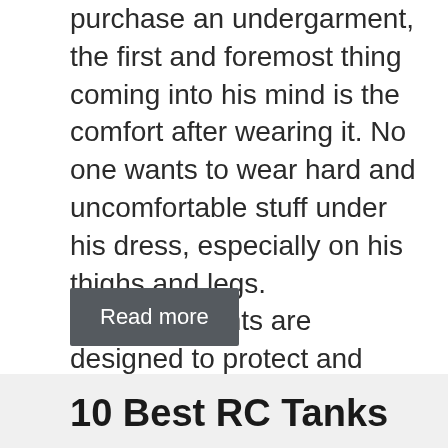purchase an undergarment, the first and foremost thing coming into his mind is the comfort after wearing it. No one wants to wear hard and uncomfortable stuff under his dress, especially on his thighs and legs. Undergarments are designed to protect and conceal sensitive parts, provide the body a particular shape and prevent the outer dress from getting ...
Read more
10 Best RC Tanks